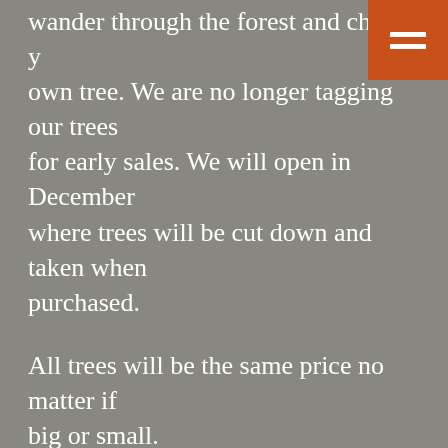wander through the forest and choose your own tree. We are no longer tagging our trees for early sales. We will open in December where trees will be cut down and taken when purchased.
All trees will be the same price no matter if big or small.
We do not offer a delivery or pick-up service.
Looking After Your Tree
Trees should be placed in water within 30 –